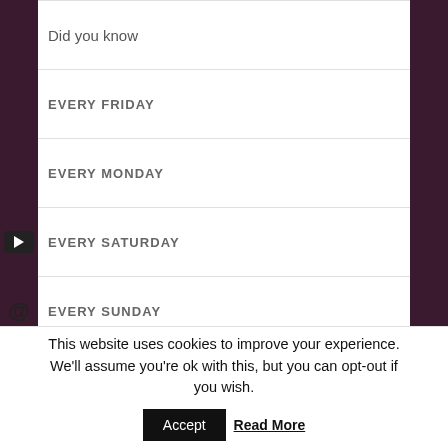Did you know
EVERY FRIDAY
EVERY MONDAY
EVERY SATURDAY
EVERY SUNDAY
EVERY THURSDAY
EVERY TUESDAY
This website uses cookies to improve your experience. We'll assume you're ok with this, but you can opt-out if you wish.
Accept
Read More